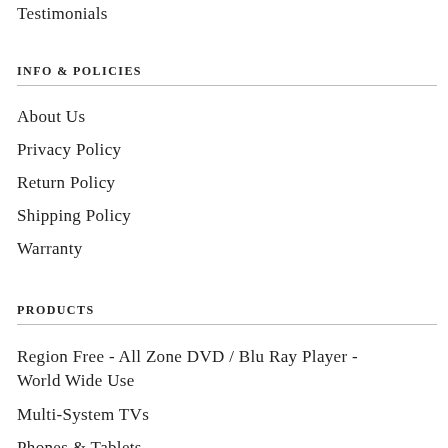Testimonials
INFO & POLICIES
About Us
Privacy Policy
Return Policy
Shipping Policy
Warranty
PRODUCTS
Region Free - All Zone DVD / Blu Ray Player - World Wide Use
Multi-System TVs
Phones & Tablets